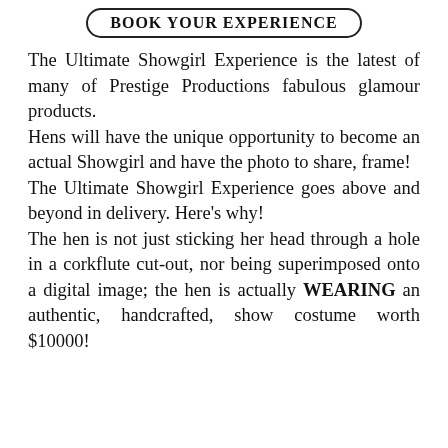BOOK YOUR EXPERIENCE
The Ultimate Showgirl Experience is the latest of many of Prestige Productions fabulous glamour products. Hens will have the unique opportunity to become an actual Showgirl and have the photo to share, frame! The Ultimate Showgirl Experience goes above and beyond in delivery. Here's why! The hen is not just sticking her head through a hole in a corkflute cut-out, nor being superimposed onto a digital image; the hen is actually WEARING an authentic, handcrafted, show costume worth $10000!